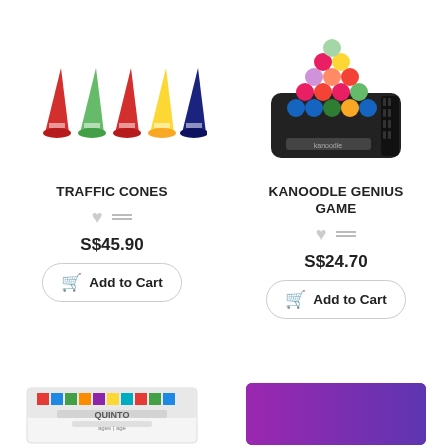[Figure (photo): Five traffic cones in red, green, red, yellow, and dark blue colors arranged in a row]
[Figure (photo): Kanoodle Genius Game — a black rectangular puzzle board with colorful beads stacked on top]
TRAFFIC CONES
KANOODLE GENIUS GAME
S$45.90
S$24.70
Add to Cart
Add to Cart
[Figure (photo): Partial view of a board game box with colorful packaging at bottom left]
[Figure (photo): Partial view of a purple/violet colored product at bottom right]